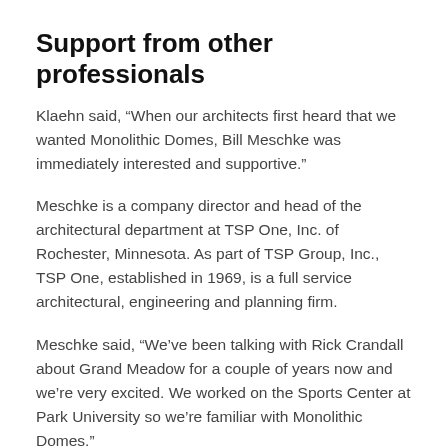Support from other professionals
Klaehn said, “When our architects first heard that we wanted Monolithic Domes, Bill Meschke was immediately interested and supportive.”
Meschke is a company director and head of the architectural department at TSP One, Inc. of Rochester, Minnesota. As part of TSP Group, Inc., TSP One, established in 1969, is a full service architectural, engineering and planning firm.
Meschke said, “We’ve been talking with Rick Crandall about Grand Meadow for a couple of years now and we’re very excited. We worked on the Sports Center at Park University so we’re familiar with Monolithic Domes.”
“We know the pros and cons,” Meschke continued. He said